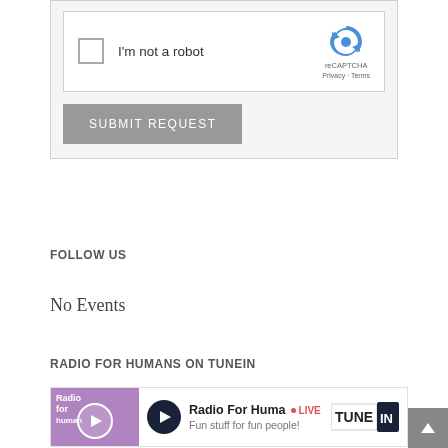[Figure (screenshot): reCAPTCHA widget with checkbox labeled 'I'm not a robot' and reCAPTCHA logo with Privacy and Terms links]
[Figure (screenshot): Gray 'SUBMIT REQUEST' button]
FOLLOW US
No Events
RADIO FOR HUMANS ON TUNEIN
[Figure (screenshot): TuneIn radio player widget showing 'Radio For Huma' with LIVE badge and text 'Fun stuff for fun people!']